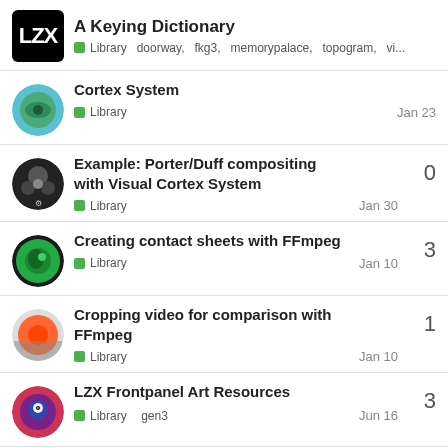A Keying Dictionary — Library doorway, fkg3, memorypalace, topogram, vi...
Cortex System — Library — Jan 23
Example: Porter/Duff compositing with Visual Cortex System — Library — Jan 30 — 0 replies
Creating contact sheets with FFmpeg — Library — Jan 10 — 3 replies
Cropping video for comparison with FFmpeg — Library — Jan 10 — 1 reply
LZX Frontpanel Art Resources — Library gen3 — Jun 16 — 3 replies
Want to read more? Browse other topics in